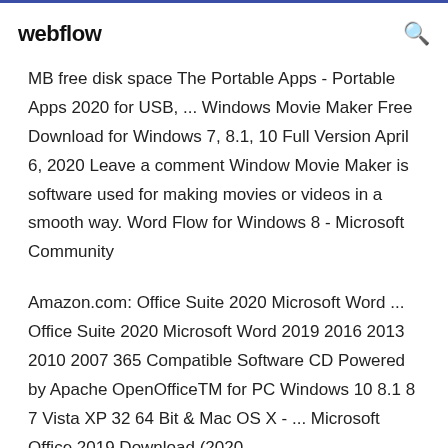webflow
MB free disk space The Portable Apps - Portable Apps 2020 for USB, ... Windows Movie Maker Free Download for Windows 7, 8.1, 10 Full Version April 6, 2020 Leave a comment Window Movie Maker is software used for making movies or videos in a smooth way. Word Flow for Windows 8 - Microsoft Community
Amazon.com: Office Suite 2020 Microsoft Word ... Office Suite 2020 Microsoft Word 2019 2016 2013 2010 2007 365 Compatible Software CD Powered by Apache OpenOfficeTM for PC Windows 10 8.1 8 7 Vista XP 32 64 Bit & Mac OS X - ... Microsoft Office 2019 Download (2020